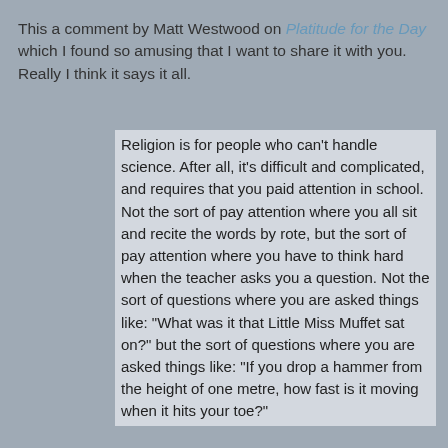This a comment by Matt Westwood on Platitude for the Day which I found so amusing that I want to share it with you. Really I think it says it all.
Religion is for people who can't handle science. After all, it's difficult and complicated, and requires that you paid attention in school. Not the sort of pay attention where you all sit and recite the words by rote, but the sort of pay attention where you have to think hard when the teacher asks you a question. Not the sort of questions where you are asked things like: "What was it that Little Miss Muffet sat on?" but the sort of questions where you are asked things like: "If you drop a hammer from the height of one metre, how fast is it moving when it hits your toe?"